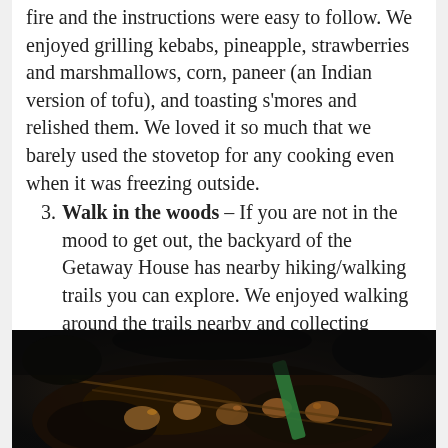fire and the instructions were easy to follow. We enjoyed grilling kebabs, pineapple, strawberries and marshmallows, corn, paneer (an Indian version of tofu), and toasting s'mores and relished them. We loved it so much that we barely used the stovetop for any cooking even when it was freezing outside.
Walk in the woods – If you are not in the mood to get out, the backyard of the Getaway House has nearby hiking/walking trails you can explore. We enjoyed walking around the trails nearby and collecting pinecones on the trails for the house.
[Figure (photo): Dark close-up photo of grilled food items on skewers, possibly kebabs or grilled fruit, with a green item visible]